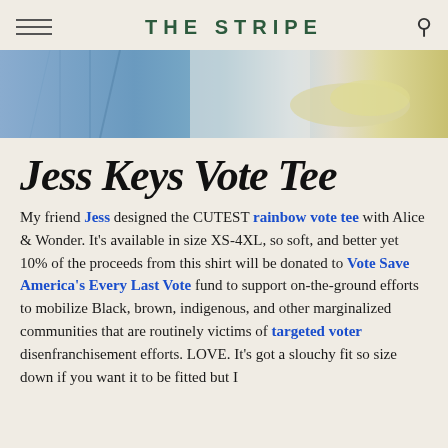THE STRIPE
[Figure (photo): Cropped photo showing denim jeans fabric on the left and a light yellow sneaker/shoe on the right against a white background]
Jess Keys Vote Tee
My friend Jess designed the CUTEST rainbow vote tee with Alice & Wonder. It's available in size XS-4XL, so soft, and better yet 10% of the proceeds from this shirt will be donated to Vote Save America's Every Last Vote fund to support on-the-ground efforts to mobilize Black, brown, indigenous, and other marginalized communities that are routinely victims of targeted voter disenfranchisement efforts. LOVE. It's got a slouchy fit so size down if you want it to be fitted but I